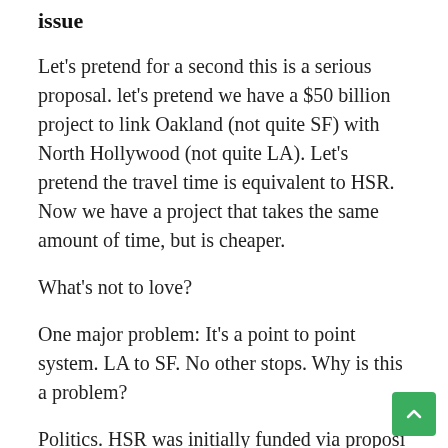issue
Let's pretend for a second this is a serious proposal. let's pretend we have a $50 billion project to link Oakland (not quite SF) with North Hollywood (not quite LA). Let's pretend the travel time is equivalent to HSR. Now we have a project that takes the same amount of time, but is cheaper.
What's not to love?
One major problem: It's a point to point system. LA to SF. No other stops. Why is this a problem?
Politics. HSR was initially funded via proposi 1a. If this project were real, it would be funded publicly as well… Much doesn't mean to expend …